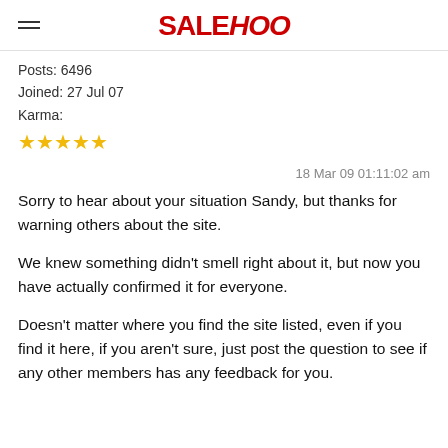SALEHOO
Posts: 6496
Joined: 27 Jul 07
Karma:
★★★★★
18 Mar 09 01:11:02 am
Sorry to hear about your situation Sandy, but thanks for warning others about the site.
We knew something didn't smell right about it, but now you have actually confirmed it for everyone.
Doesn't matter where you find the site listed, even if you find it here, if you aren't sure, just post the question to see if any other members has any feedback for you.